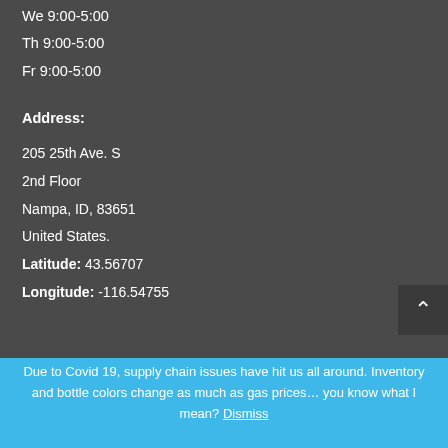We 9:00-5:00
Th 9:00-5:00
Fr 9:00-5:00
Address:
205 25th Ave. S
2nd Floor
Nampa, ID, 83651
United States.
Latitude: 43.56707
Longitude: -116.54755
Due to Covid 19, supply chain issues have hit us all around. Inventory and bottle colors change as much as gas prices… you know what I mean? Dismiss